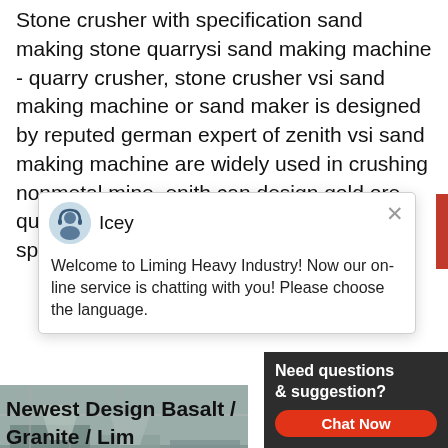Stone crusher with specification sand making stone quarrysi sand making machine - quarry crusher, stone crusher vsi sand making machine or sand maker is designed by reputed german expert of zenith vsi sand making machine are widely used in crushing nonmetal mine, enith can design gold ore quarry crusher plants with other specifications.
[Figure (screenshot): Chat popup overlay with avatar of 'Icey' and message: Welcome to Liming Heavy Industry! Now our on-line service is chatting with you! Please choose the language.]
[Figure (photo): Photo of stone crushing machinery/conveyor equipment]
Newest Design Basalt / Granite / Lim Breaking ...
Newest Design Basalt / Granite / Limesto Station Quarry Production Line Stone Cre Plant Unit Price: US $ 4600-4900 / Set M
[Figure (photo): Customer service representative (woman with headset) photo on right side with notification badge showing '1' and 'Need questions & suggestion? Chat Now' widget]